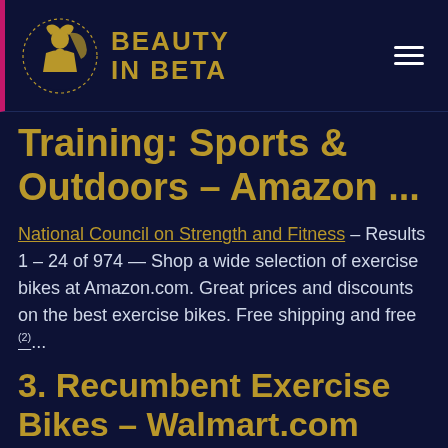[Figure (logo): Beauty In Beta logo with circular emblem of a woman silhouette and golden brand text]
Training: Sports & Outdoors – Amazon ...
National Council on Strength and Fitness – Results 1 – 24 of 974 — Shop a wide selection of exercise bikes at Amazon.com. Great prices and discounts on the best exercise bikes. Free shipping and free (2)...
3. Recumbent Exercise Bikes – Walmart.com